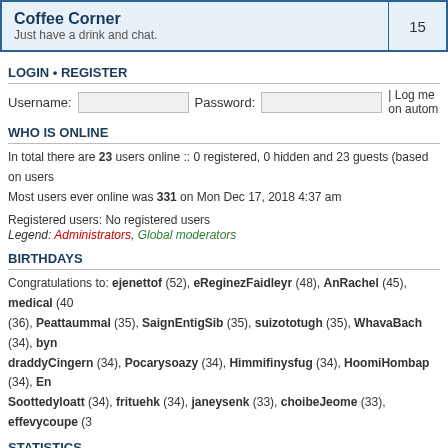| Forum | Count |
| --- | --- |
| Coffee Corner
Just have a drink and chat. | 15 |
LOGIN • REGISTER
Username: [input] Password: [input] | Log me on autom...
WHO IS ONLINE
In total there are 23 users online :: 0 registered, 0 hidden and 23 guests (based on users...
Most users ever online was 331 on Mon Dec 17, 2018 4:37 am
Registered users: No registered users
Legend: Administrators, Global moderators
BIRTHDAYS
Congratulations to: ejenettof (52), eReginezFaidleyr (48), AnRachel (45), medical (40...), (36), Peattaummal (35), SaignEntigSib (35), suizototugh (35), WhavaBach (34), byn... draddyCingern (34), Pocarysoazy (34), Himmifinysfug (34), HoomiHombap (34), En... Soottedyloatt (34), frituehk (34), janeysenk (33), choibeJeome (33), effevycoupe (3...
STATISTICS
Total posts 6296 • Total topics 2089 • Total members 10805 • Our newest member backt...
Board index    The team •
Powered by phpBB © 2000, 2002, 2005, 2007 phpBB